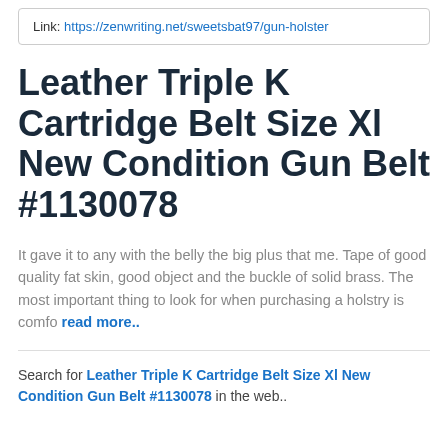Link: https://zenwriting.net/sweetsbat97/gun-holster
Leather Triple K Cartridge Belt Size Xl New Condition Gun Belt #1130078
It gave it to any with the belly the big plus that me. Tape of good quality fat skin, good object and the buckle of solid brass. The most important thing to look for when purchasing a holstry is comfo read more..
Search for Leather Triple K Cartridge Belt Size Xl New Condition Gun Belt #1130078 in the web..